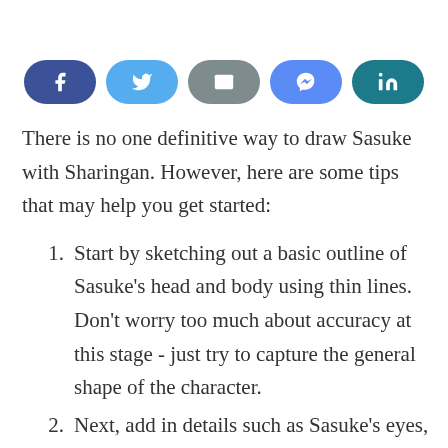[Figure (other): Row of five social sharing buttons: Facebook (dark blue), Twitter (light blue), Email (gray), Messenger (medium blue), LinkedIn (teal)]
There is no one definitive way to draw Sasuke with Sharingan. However, here are some tips that may help you get started:
Start by sketching out a basic outline of Sasuke's head and body using thin lines. Don't worry too much about accuracy at this stage - just try to capture the general shape of the character.
Next, add in details such as Sasuke's eyes, nose, and mouth. Be sure to give him a distinct look with each